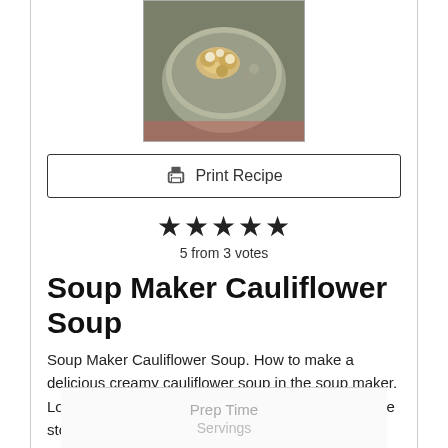[Figure (photo): A bowl of creamy cauliflower soup topped with roasted cauliflower florets, photographed from above on a patterned surface.]
🖶 Print Recipe
★★★★★
5 from 3 votes
Soup Maker Cauliflower Soup
Soup Maker Cauliflower Soup. How to make a delicious creamy cauliflower soup in the soup maker. Loaded with frozen cauliflower, garlic, and vegetable stock, this is the easiest ever cauliflower soup.
Prep Time